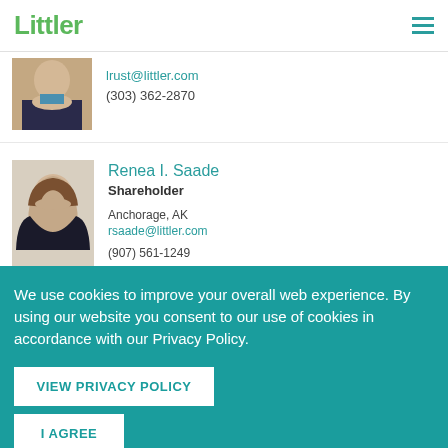Littler
lrust@littler.com
(303) 362-2870
Renea I. Saade
Shareholder
Anchorage, AK
rsaade@littler.com
(907) 561-1249
We use cookies to improve your overall web experience. By using our website you consent to our use of cookies in accordance with our Privacy Policy.
VIEW PRIVACY POLICY
I AGREE